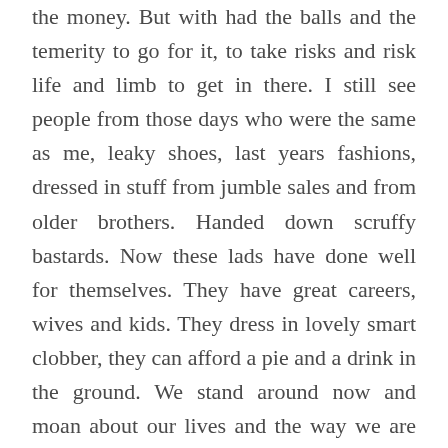the money. But with had the balls and the temerity to go for it, to take risks and risk life and limb to get in there. I still see people from those days who were the same as me, leaky shoes, last years fashions, dressed in stuff from jumble sales and from older brothers. Handed down scruffy bastards. Now these lads have done well for themselves. They have great careers, wives and kids. They dress in lovely smart clobber, they can afford a pie and a drink in the ground. We stand around now and moan about our lives and the way we are playing that day. Sometimes we stand around and are amazed at our play. But if you look real close at them they still have that stare. That temerity to ‘get in’. It’s a stare that takes chances and has made us into the people we